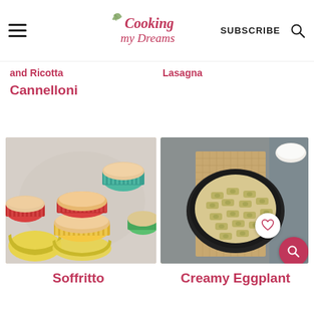Cooking my Dreams - SUBSCRIBE
...and Ricotta Lasagna
Cannelloni
[Figure (photo): Colorful silicone cupcake molds filled with a rice or grain mixture, stacked on a marble surface]
[Figure (photo): Black cast iron pan with creamy eggplant pasta (rigatoni) on a burlap cloth with a small bowl of sauce]
Soffritto
Creamy Eggplant